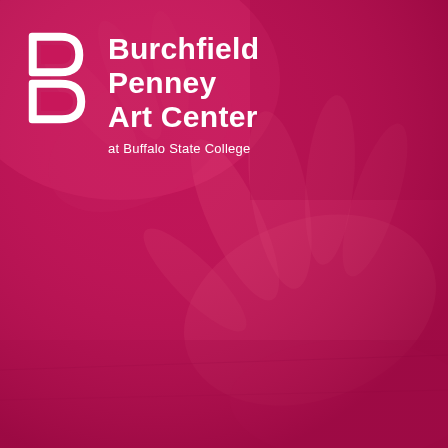[Figure (photo): Cover page of Burchfield Penney Art Center at Buffalo State College. Full-bleed crimson/magenta-tinted photo of hands working on an art project. The entire background is covered with a deep pink-red color wash over a photograph showing hands creating artwork.]
Burchfield Penney Art Center
at Buffalo State College